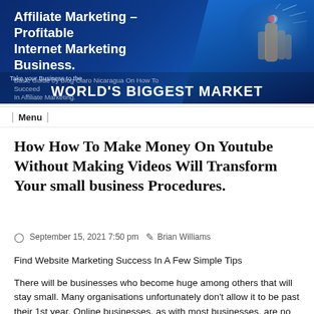[Figure (illustration): Banner image with dark blue background and digital/tech imagery. Text overlay reads 'Affiliate Marketing – Profitable Internet Marketing Business.' with subtitle 'Basic Guide by Blog Claro Nicaragua On How To Succeed In Affiliate Marketing.' and large overlay text 'Take your Business to the WORLD'S BIGGEST MARKET'. Right side shows a glowing hand finger touching a digital screen.]
Menu
How How To Make Money On Youtube Without Making Videos Will Transform Your small business Procedures.
September 15, 2021 7:50 pm  Brian Williams
Find Website Marketing Success In A Few Simple Tips
There will be businesses who become huge among others that will stay small. Many organisations unfortunately don't allow it to be past their 1st year. Online businesses, as with most businesses, are no